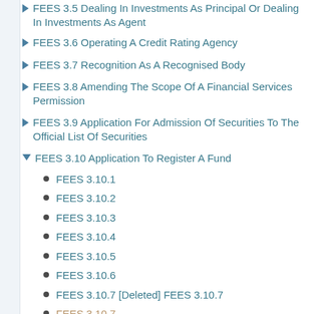FEES 3.5 Dealing In Investments As Principal Or Dealing In Investments As Agent
FEES 3.6 Operating A Credit Rating Agency
FEES 3.7 Recognition As A Recognised Body
FEES 3.8 Amending The Scope Of A Financial Services Permission
FEES 3.9 Application For Admission Of Securities To The Official List Of Securities
FEES 3.10 Application To Register A Fund
FEES 3.10.1
FEES 3.10.2
FEES 3.10.3
FEES 3.10.4
FEES 3.10.5
FEES 3.10.6
FEES 3.10.7 [Deleted] FEES 3.10.7
FEES 3.10.7
FEES 3.10.8
FEES 3.11 Application By An Authorised Fund